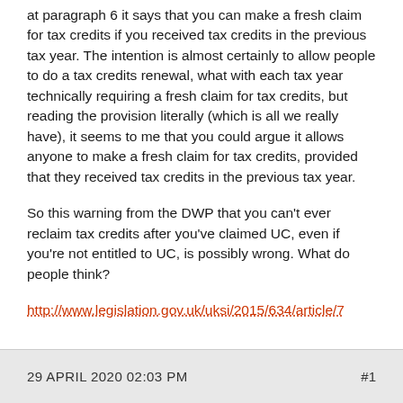at paragraph 6 it says that you can make a fresh claim for tax credits if you received tax credits in the previous tax year. The intention is almost certainly to allow people to do a tax credits renewal, what with each tax year technically requiring a fresh claim for tax credits, but reading the provision literally (which is all we really have), it seems to me that you could argue it allows anyone to make a fresh claim for tax credits, provided that they received tax credits in the previous tax year.
So this warning from the DWP that you can't ever reclaim tax credits after you've claimed UC, even if you're not entitled to UC, is possibly wrong. What do people think?
http://www.legislation.gov.uk/uksi/2015/634/article/7
29 APRIL 2020 02:03 PM   #1